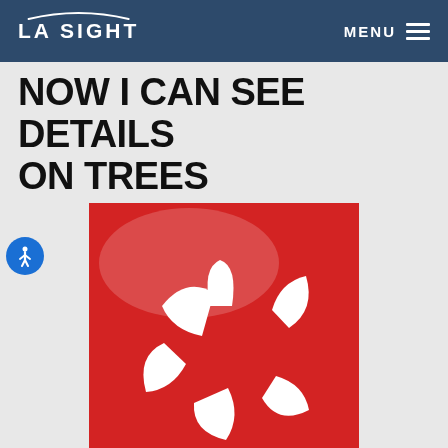LA SIGHT   MENU
NOW I CAN SEE DETAILS ON TREES
[Figure (logo): Yelp logo — white burst/flower shape on a red square background]
I can't praise LA Sight enough. They treated me very well, my experience is/was impeccable and I would recommend everyone that wants corrected vision to get a consultation and surgery with Dr. Wallace and his crew. The ladies at the